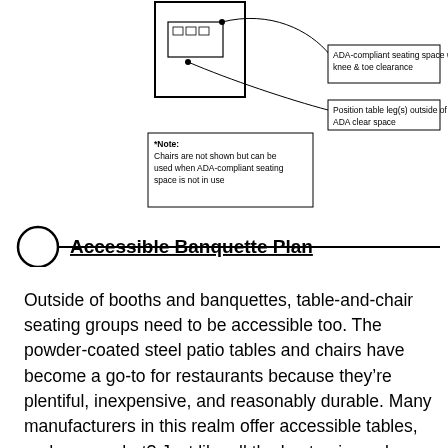[Figure (engineering-diagram): Floor plan diagram of an accessible banquette showing ADA-compliant seating space with knee and toe clearance, table leg positioning outside ADA clear space, and a note that chairs are not shown but can be used when ADA-compliant seating space is not in use.]
Accessible Banquette Plan
Outside of booths and banquettes, table-and-chair seating groups need to be accessible too. The powder-coated steel patio tables and chairs have become a go-to for restaurants because they’re plentiful, inexpensive, and reasonably durable. Many manufacturers in this realm offer accessible tables, and guess what? Just like all the best universal design, those accessible tables are better for all of us